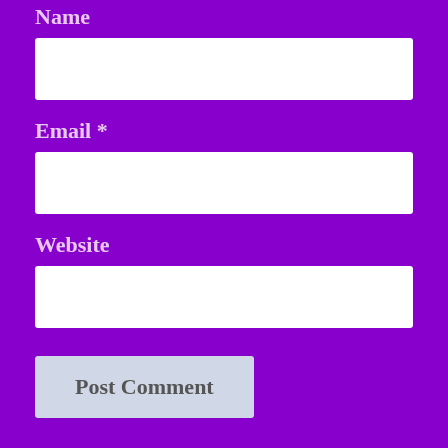Name
[Figure (other): Empty text input field for Name]
Email *
[Figure (other): Empty text input field for Email]
Website
[Figure (other): Empty text input field for Website]
Post Comment
Notify me of new comments via email.
Notify me of new posts via email.